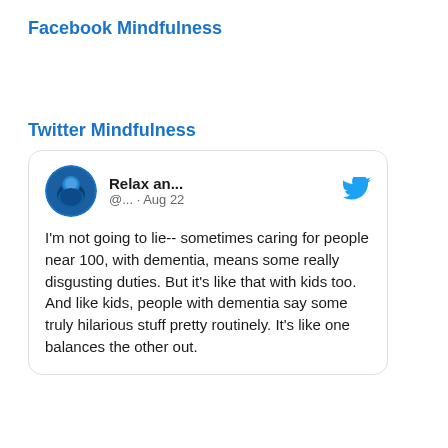Facebook Mindfulness
Twitter Mindfulness
[Figure (screenshot): Tweet card from account 'Relax an...' (@... · Aug 22) with Twitter bird logo. Tweet text: I'm not going to lie-- sometimes caring for people near 100, with dementia, means some really disgusting duties. But it's like that with kids too. And like kids, people with dementia say some truly hilarious stuff pretty routinely. It's like one balances the other out.]